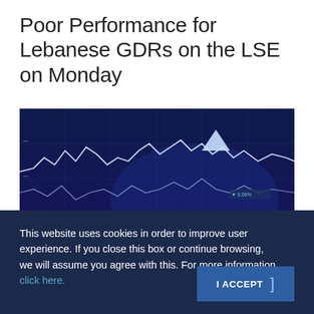Poor Performance for Lebanese GDRs on the LSE on Monday
[Figure (photo): Stock market trading screen showing blue-toned financial charts with candlestick and line graphs on a dark blue background]
This website uses cookies in order to improve user experience. If you close this box or continue browsing, we will assume you agree with this. For more information click here.